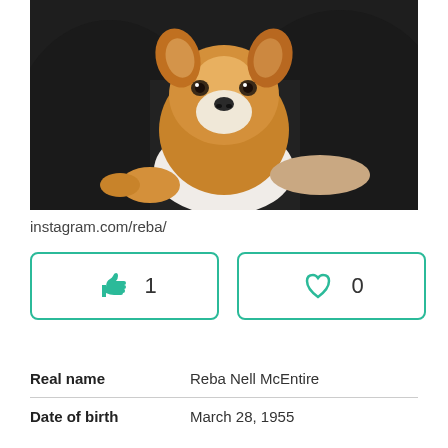[Figure (photo): Photo of a Corgi puppy being held by a person in a black jacket]
instagram.com/reba/
[Figure (infographic): Like button with count 1 and heart/favorite button with count 0]
| Real name | Reba Nell McEntire |
| Date of birth | March 28, 1955 |